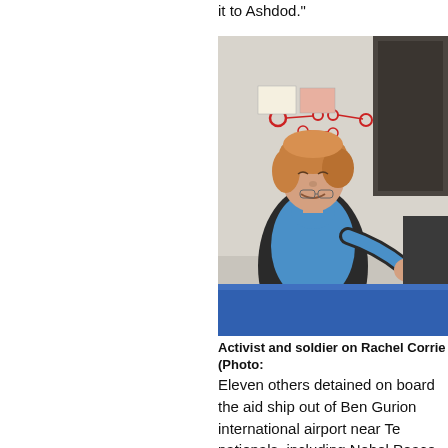it to Ashdod."
[Figure (photo): Woman (activist) smiling on the deck of the Rachel Corrie ship, leaning forward with arm outstretched. She has reddish-blonde hair and wears a blue shirt and dark jacket. A soldier or person is partially visible on the right. Blue railing visible in foreground, wall with mounted safety equipment in background.]
Activist and soldier on Rachel Corrie (Photo:
Eleven others detained on board the aid ship out of Ben Gurion international airport near Te nationals, including Nobel Peace laureate Ma the ship's Scottish captain.
Israeli forces intercepted and seized control o as it tried to reach the Gaza Strip, without use when nine people were killed as commando